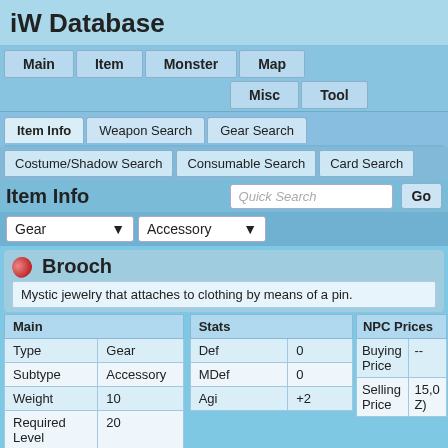iW Database
Main  Item  Monster  Map
Misc  Tool
Item Info  Weapon Search  Gear Search
Costume/Shadow Search  Consumable Search  Card Search
Item Info
Quick Search
Go
Gear  Accessory
Brooch
Mystic jewelry that attaches to clothing by means of a pin.
| Main |  |
| --- | --- |
| Type | Gear |
| Subtype | Accessory |
| Weight | 10 |
| Required Level | 20 |
| Upgradable | No |
| Damagable | No |
| Stats |  |
| --- | --- |
| Def | 0 |
| MDef | 0 |
| Agi | +2 |
| NPC Prices |  |
| --- | --- |
| Buying Price | -- |
| Selling Price | 15,0 Z) |